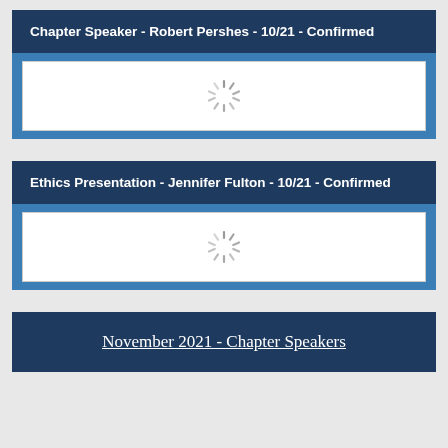Chapter Speaker - Robert Pershes - 10/21 - Confirmed
[Figure (other): Loading spinner icon in a white content box within a blue bordered container]
Ethics Presentation - Jennifer Fulton - 10/21 - Confirmed
[Figure (other): Loading spinner icon in a white content box within a blue bordered container]
November 2021 - Chapter Speakers